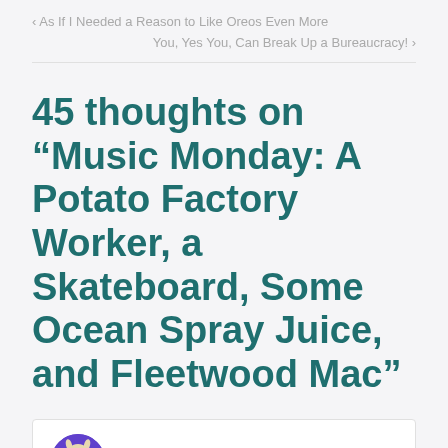‹ As If I Needed a Reason to Like Oreos Even More
You, Yes You, Can Break Up a Bureaucracy! ›
45 thoughts on “Music Monday: A Potato Factory Worker, a Skateboard, Some Ocean Spray Juice, and Fleetwood Mac”
Tippy Gnu